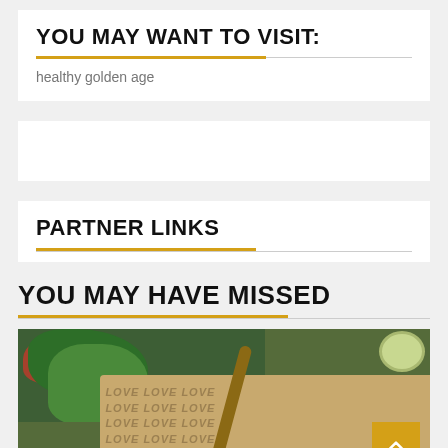YOU MAY WANT TO VISIT:
healthy golden age
PARTNER LINKS
YOU MAY HAVE MISSED
[Figure (photo): Food photography showing herbs, wooden spoon and cutting board with 'LOVE' text pattern on paper, with orange vegetables, on a wooden surface]